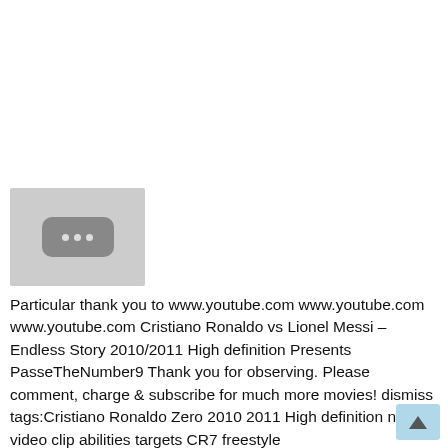[Figure (other): Thumbnail placeholder image with a grey background and a rounded rectangle containing three dots in the center]
Particular thank you to www.youtube.com www.youtube.com www.youtube.com Cristiano Ronaldo vs Lionel Messi – Endless Story 2010/2011 High definition Presents PasseTheNumber9 Thank you for observing. Please comment, charge & subscribe for much more movies! dismiss tags:Cristiano Ronaldo Zero 2010 2011 High definition new video clip abilities targets CR7 freestyle